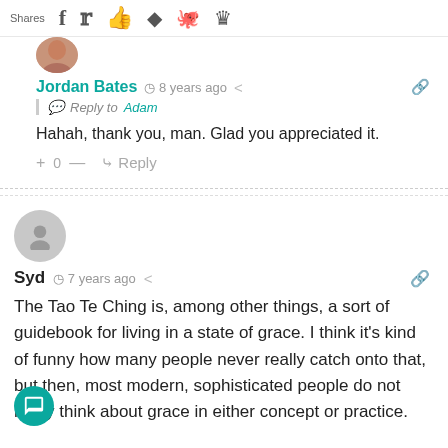Shares  f  (twitter)  (thumbsup)  (pocket)  (reddit)  (crown)
[Figure (photo): Circular avatar photo of Jordan Bates, partially cropped at top]
Jordan Bates  ⏱ 8 years ago  ↗  🔗
💬 Reply to Adam
Hahah, thank you, man. Glad you appreciated it.
+ 0 — ↳ Reply
[Figure (illustration): Gray circular avatar placeholder for user Syd]
Syd  ⏱ 7 years ago  ↗  🔗
The Tao Te Ching is, among other things, a sort of guidebook for living in a state of grace. I think it's kind of funny how many people never really catch onto that, but then, most modern, sophisticated people do not really think about grace in either concept or practice.